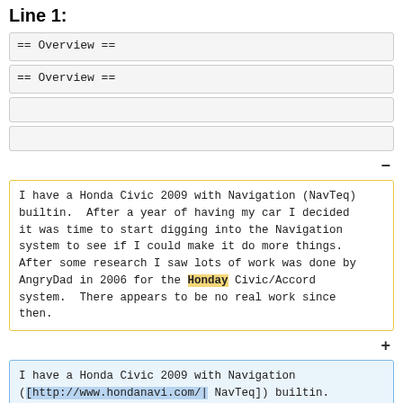Line 1:
== Overview ==
== Overview ==
−
I have a Honda Civic 2009 with Navigation (NavTeq) builtin.  After a year of having my car I decided it was time to start digging into the Navigation system to see if I could make it do more things.  After some research I saw lots of work was done by AngryDad in 2006 for the Honday Civic/Accord system.  There appears to be no real work since then.
+
I have a Honda Civic 2009 with Navigation ([http://www.hondanavi.com/| NavTeq]) builtin.  After a year of having my car I decided it was time